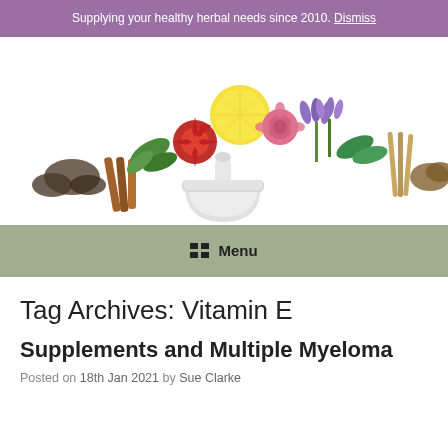Supplying your healthy herbal needs since 2010. Dismiss
[Figure (illustration): Decorative header image showing an arrangement of herbs, spices, flowers, and a white mortar and pestle on a white background]
Menu
Tag Archives: Vitamin E
Supplements and Multiple Myeloma
Posted on 18th Jan 2021 by Sue Clarke